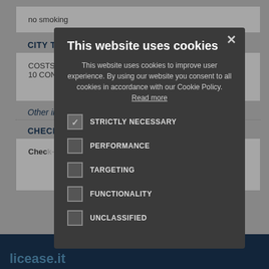no smoking
CITY TA…
COSTS… UM OF 10 CON…
Other info…
Check-i…
Chec… –
[Figure (screenshot): Cookie consent modal dialog on a travel/hotel booking website. Dark grey modal with title 'This website uses cookies', body text explaining cookie policy with 'Read more' link, and five checkbox options: STRICTLY NECESSARY (checked), PERFORMANCE (unchecked), TARGETING (unchecked), FUNCTIONALITY (unchecked), UNCLASSIFIED (unchecked). Close (X) button at top right. Modal overlays a background showing hotel listing page content.]
licease.it